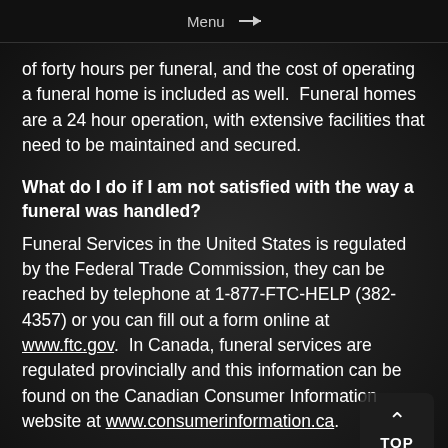Menu →
of forty hours per funeral, and the cost of operating a funeral home is included as well.  Funeral homes are a 24 hour operation, with extensive facilities that need to be maintained and secured.
What do I do if I am not satisfied with the way a funeral was handled?
Funeral Services in the United States is regulated by the Federal Trade Commission, they can be reached by telephone at 1-877-FTC-HELP (382-4357) or you can fill out a form online at www.ftc.gov.  In Canada, funeral services are regulated provincially and this information can be found on the Canadian Consumer Information website at www.consumerinformation.ca.